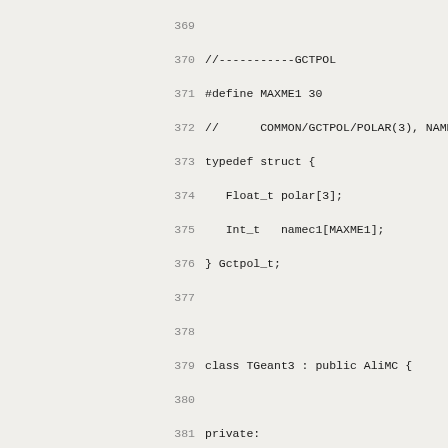Source code listing lines 369-401, C++ header file for TGeant3 class